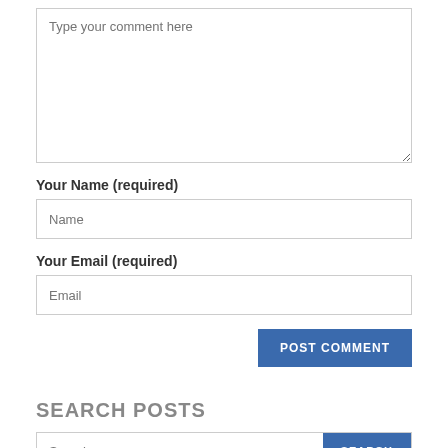Type your comment here
Your Name (required)
Name
Your Email (required)
Email
POST COMMENT
SEARCH POSTS
Search
SEARCH